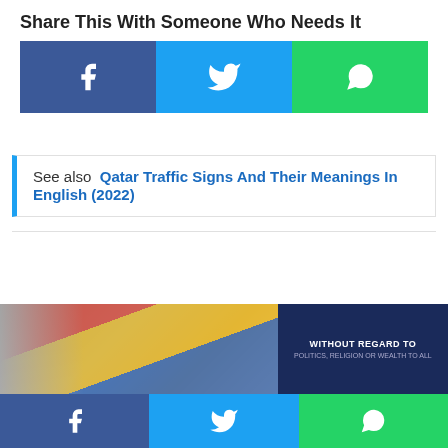Share This With Someone Who Needs It
[Figure (infographic): Three social media share buttons: Facebook (blue), Twitter (light blue), WhatsApp (green)]
See also  Qatar Traffic Signs And Their Meanings In English (2022)
226 thoughts on “Qatar Driving License
[Figure (photo): Advertisement banner showing airplane being loaded with cargo and text WITHOUT REGARD TO POLITICS, RELIGION OR WEALTH TO ALL]
[Figure (infographic): Three social media share buttons at bottom: Facebook (blue), Twitter (light blue), WhatsApp (green)]